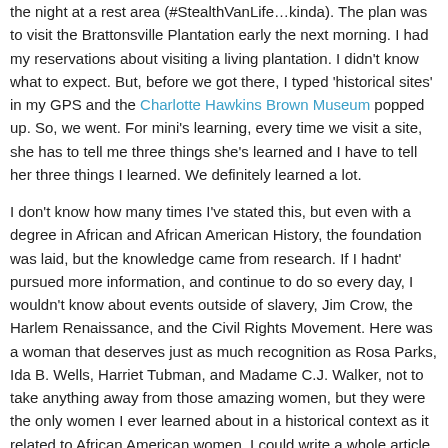the night at a rest area (#StealthVanLife…kinda). The plan was to visit the Brattonsville Plantation early the next morning. I had my reservations about visiting a living plantation. I didn't know what to expect. But, before we got there, I typed 'historical sites' in my GPS and the Charlotte Hawkins Brown Museum popped up. So, we went. For mini's learning, every time we visit a site, she has to tell me three things she's learned and I have to tell her three things I learned. We definitely learned a lot.
I don't know how many times I've stated this, but even with a degree in African and African American History, the foundation was laid, but the knowledge came from research. If I hadnt' pursued more information, and continue to do so every day, I wouldn't know about events outside of slavery, Jim Crow, the Harlem Renaissance, and the Civil Rights Movement. Here was a woman that deserves just as much recognition as Rosa Parks, Ida B. Wells, Harriet Tubman, and Madame C.J. Walker, not to take anything away from those amazing women, but they were the only women I ever learned about in a historical context as it related to African American women. I could write a whole article about this museum and the woman but I'll recommend you either go there yourself or do some research.
[Figure (photo): Partial view of a book cover titled 'ONE WOMAN'S LABOR' with a brown/tan background, cropped at the bottom of the page.]